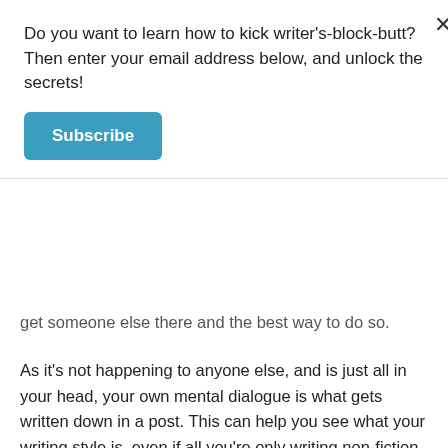Do you want to learn how to kick writer's-block-butt? Then enter your email address below, and unlock the secrets!
Subscribe
get someone else there and the best way to do so.
As it’s not happening to anyone else, and is just all in your head, your own mental dialogue is what gets written down in a post. This can help you see what your writing style is, even if all you’re only writing non-fiction. (Not to mention, you also get better at editing! At times, you have to do developmental editing to a post: completely reevaluating how you’re telling it, or even chucking out parts when you don’t need them. And, of course, line editing: you need to make sure everything makes sense, your ideas are conveyed, and it all flows well. For instance, I had to severely line edit all the stuff in this parentheses. It was all in one sentence before, so you can